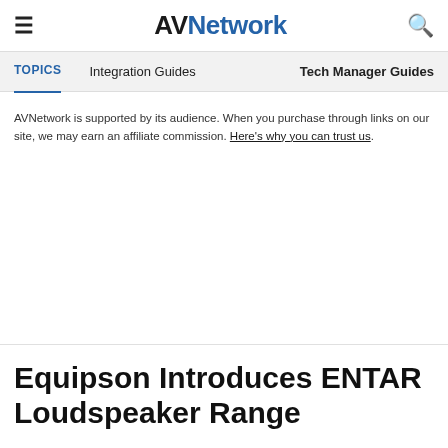AVNetwork — TOPICS | Integration Guides | Tech Manager Guides
AVNetwork is supported by its audience. When you purchase through links on our site, we may earn an affiliate commission. Here's why you can trust us.
Equipson Introduces ENTAR Loudspeaker Range